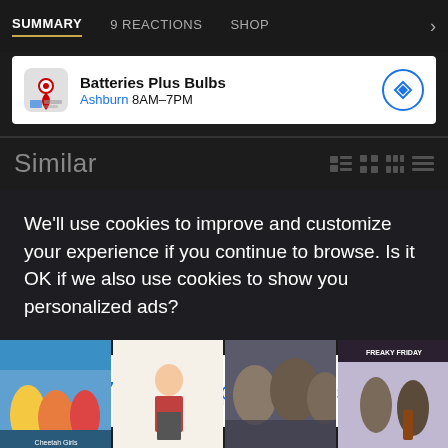SUMMARY  9 REACTIONS  SHOP
[Figure (screenshot): Advertisement banner for Batteries Plus Bulbs showing store icon, name, location Ashburn, hours 8AM-7PM, and a directions button]
Similar
We’ll use cookies to improve and customize your experience if you continue to browse. Is it OK if we also use cookies to show you personalized ads?
Yes, Accept Cookies
[Figure (screenshot): Row of four movie thumbnail images at the bottom of the screen]